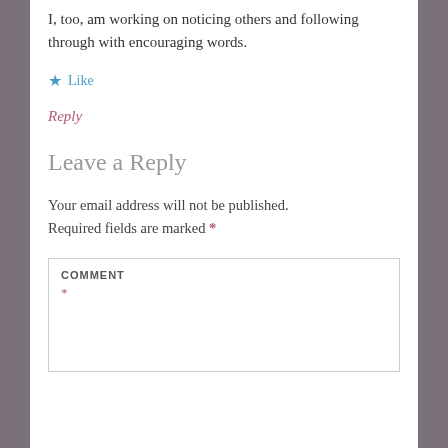I, too, am working on noticing others and following through with encouraging words.
★ Like
Reply
Leave a Reply
Your email address will not be published. Required fields are marked *
COMMENT *